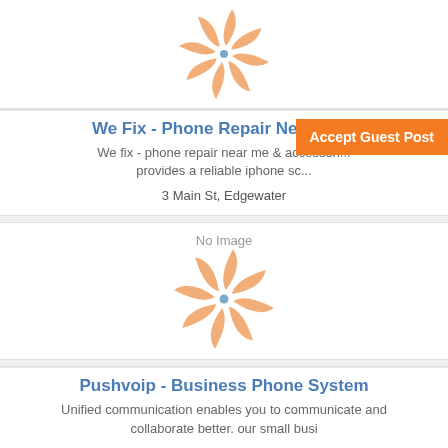[Figure (illustration): Orange pinwheel/spinner logo icon on white background]
We Fix - Phone Repair Near Me...
We fix - phone repair near me & accessori... provides a reliable iphone sc...
Accept Guest Post
3 Main St, Edgewater
[Figure (illustration): No Image placeholder with orange pinwheel/spinner logo icon]
Pushvoip - Business Phone System
Unified communication enables you to communicate and collaborate better. our small busi